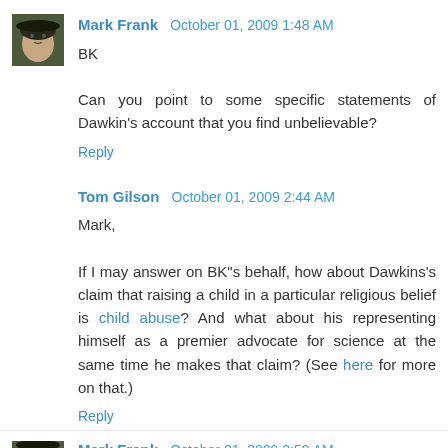Mark Frank  October 01, 2009 1:48 AM
BK

Can you point to some specific statements of Dawkin's account that you find unbelievable?
Reply
Tom Gilson  October 01, 2009 2:44 AM
Mark,

If I may answer on BK"s behalf, how about Dawkins's claim that raising a child in a particular religious belief is child abuse? And what about his representing himself as a premier advocate for science at the same time he makes that claim? (See here for more on that.)
Reply
Mark Frank  October 01, 2009 2:59 AM